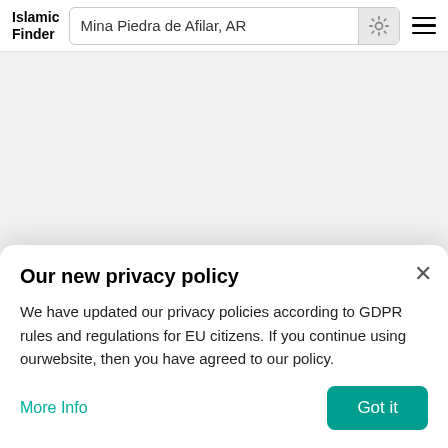Islamic Finder | Mina Piedra de Afilar, AR
[Figure (screenshot): Map area showing a blank/loading map for Mina Piedra de Afilar, AR on Islamic Finder website]
Our new privacy policy
We have updated our privacy policies according to GDPR rules and regulations for EU citizens. If you continue using ourwebsite, then you have agreed to our policy.
More Info   Got it